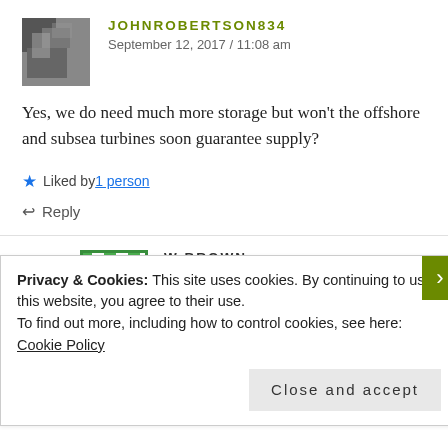JOHNROBERTSON834
September 12, 2017 / 11:08 am
Yes, we do need much more storage but won't the offshore and subsea turbines soon guarantee supply?
Liked by 1 person
Reply
W BROWN
September 12, 2017 / 11:37 am
Privacy & Cookies: This site uses cookies. By continuing to use this website, you agree to their use.
To find out more, including how to control cookies, see here: Cookie Policy
Close and accept